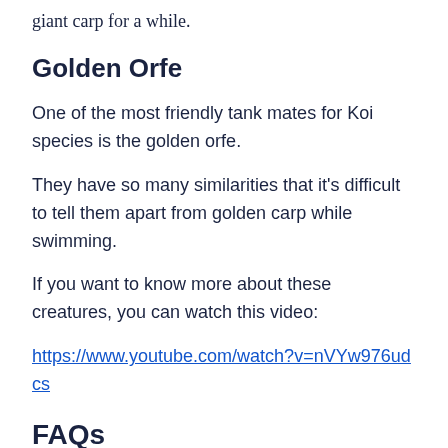giant carp for a while.
Golden Orfe
One of the most friendly tank mates for Koi species is the golden orfe.
They have so many similarities that it’s difficult to tell them apart from golden carp while swimming.
If you want to know more about these creatures, you can watch this video:
https://www.youtube.com/watch?v=nVYw976udcs
FAQs
...